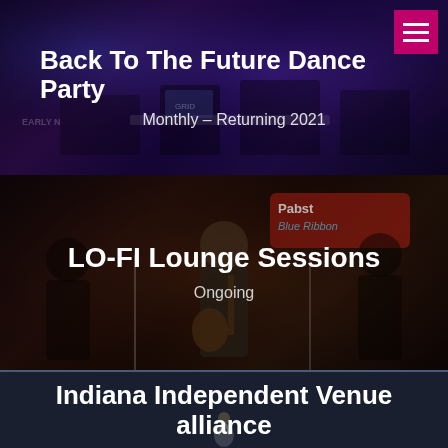Back To The Future Dance Party
Monthly – Returning 2021
LO-FI Lounge Sessions
Ongoing
Indiana Independent Venue alliance